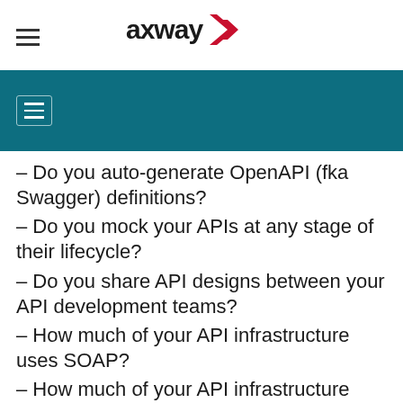[Figure (logo): Axway logo with red chevron/arrow icon and bold 'axway' wordmark]
– Do you auto-generate OpenAPI (fka Swagger) definitions?
– Do you mock your APIs at any stage of their lifecycle?
– Do you share API designs between your API development teams?
– How much of your API infrastructure uses SOAP?
– How much of your API infrastructure uses REST?